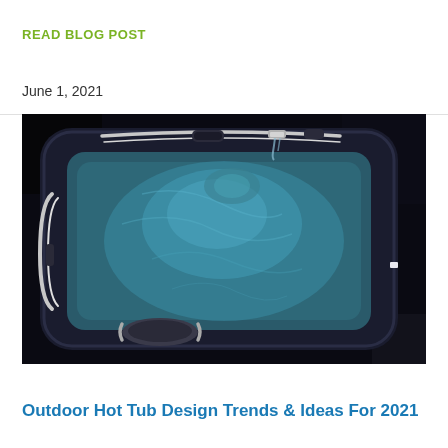READ BLOG POST
June 1, 2021
[Figure (photo): Aerial night-time photograph of an illuminated outdoor hot tub with blue glowing water, dark navy/blue shell, chrome handles, and water flowing from a spout. The tub is viewed from above at an angle.]
Outdoor Hot Tub Design Trends & Ideas For 2021